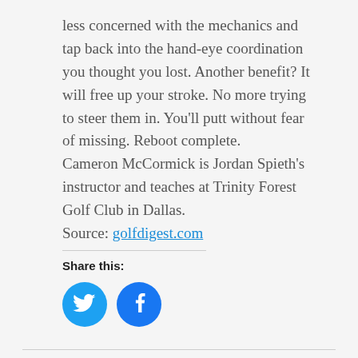less concerned with the mechanics and tap back into the hand-eye coordination you thought you lost. Another benefit? It will free up your stroke. No more trying to steer them in. You'll putt without fear of missing. Reboot complete.
Cameron McCormick is Jordan Spieth's instructor and teaches at Trinity Forest Golf Club in Dallas.
Source: golfdigest.com
Share this:
[Figure (other): Twitter and Facebook social sharing icon buttons (circular blue icons)]
MARCH 20, 2019 | BY TEESNAP DEVELOPER
Share this entry